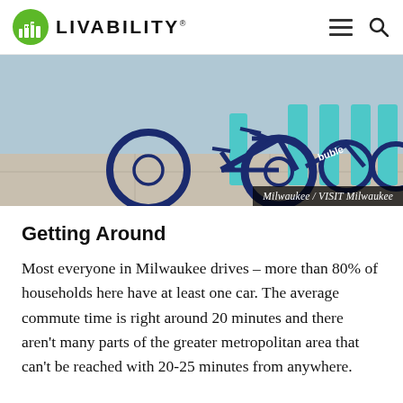LIVABILITY
[Figure (photo): Row of blue Bublr bicycles parked in docking stations on a city sidewalk. Caption reads: Milwaukee / VISIT Milwaukee]
Milwaukee / VISIT Milwaukee
Getting Around
Most everyone in Milwaukee drives – more than 80% of households here have at least one car. The average commute time is right around 20 minutes and there aren't many parts of the greater metropolitan area that can't be reached with 20-25 minutes from anywhere.